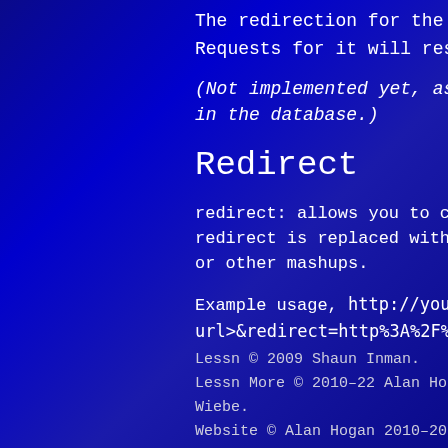The redirection for the slug named s... Requests for it will result in a 410 G...
(Not implemented yet, as of v. 2.0.; in the database.)
Redirect
redirect: allows you to create custo... redirect is replaced with the Lessn'o... or other mashups.
Example usage, http://yourdomain... url>&redirect=http%3A%2F%2Ftwi...
Lessn © 2009 Shaun Inman.
Lessn More © 2010–22 Alan Hogan and co... Wiebe.
Website © Alan Hogan 2010–2022.